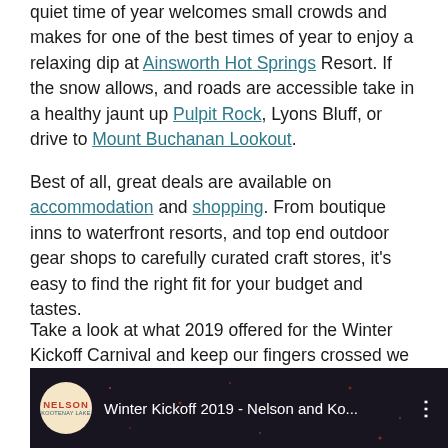quiet time of year welcomes small crowds and makes for one of the best times of year to enjoy a relaxing dip at Ainsworth Hot Springs Resort. If the snow allows, and roads are accessible take in a healthy jaunt up Pulpit Rock, Lyons Bluff, or drive to Mount Buchanan Lookout.
Best of all, great deals are available on accommodation and shopping. From boutique inns to waterfront resorts, and top end outdoor gear shops to carefully curated craft stores, it's easy to find the right fit for your budget and tastes.
Take a look at what 2019 offered for the Winter Kickoff Carnival and keep our fingers crossed we can host one of these magical events in 2022.
[Figure (screenshot): Video thumbnail showing Nelson logo and title 'Winter Kickoff 2019 - Nelson and Ko...' on dark background]